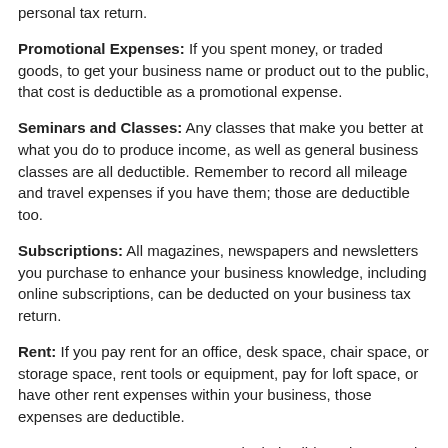personal tax return.
Promotional Expenses: If you spent money, or traded goods, to get your business name or product out to the public, that cost is deductible as a promotional expense.
Seminars and Classes: Any classes that make you better at what you do to produce income, as well as general business classes are all deductible. Remember to record all mileage and travel expenses if you have them; those are deductible too.
Subscriptions: All magazines, newspapers and newsletters you purchase to enhance your business knowledge, including online subscriptions, can be deducted on your business tax return.
Rent: If you pay rent for an office, desk space, chair space, or storage space, rent tools or equipment, pay for loft space, or have other rent expenses within your business, those expenses are deductible.
Inventory: Inventory costs are only deductible as inventory is sold; unlike most other business expenses, it is not always deducted in the same year as the money is spent. The IRS has specific rules for inventory management.